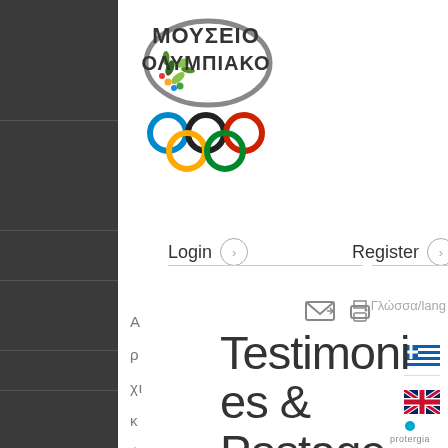[Figure (logo): Olympic Museum logo with olive branch, oval ring, text ΜΟΥΣΕΙΟ ΟΛΥΜΠΙΑΚΟ, and five Olympic rings]
Login
Register
Αρχική
[Figure (other): Email icon and print icon]
Γλώσσα/lang
[Figure (illustration): Greek flag]
[Figure (illustration): UK flag]
Testimonies & Postage
[Figure (logo): Protergia logo]